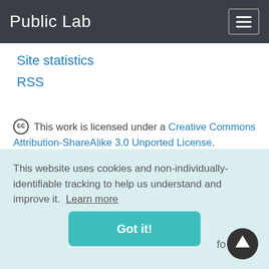Public Lab
Site statistics
RSS
© This work is licensed under a Creative Commons Attribution-ShareAlike 3.0 Unported License. Hardware designs on this site are released under the CERN Open Hardware License 1.2. Read more about
This website uses cookies and non-individually-identifiable tracking to help us understand and improve it. Learn more
Got it!
fo